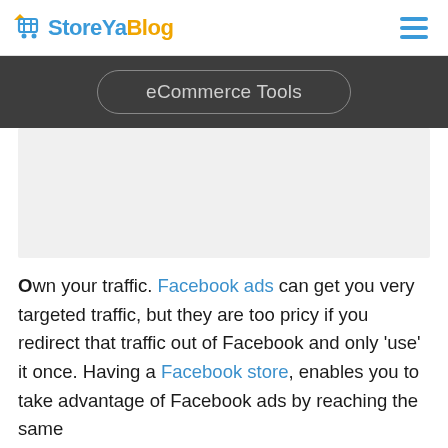StoreYa Blog
eCommerce Tools
[Figure (other): Advertisement placeholder banner (gray rectangle)]
Own your traffic. Facebook ads can get you very targeted traffic, but they are too pricy if you redirect that traffic out of Facebook and only 'use' it once. Having a Facebook store, enables you to take advantage of Facebook ads by reaching the same